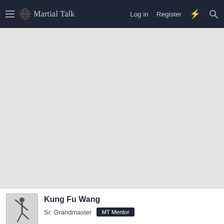Martial Talk — Log in  Register
[Figure (screenshot): Large gray empty content area below the navigation bar]
[Figure (photo): Small user avatar thumbnail showing a martial arts figure in white]
Kung Fu Wang
Sr. Grandmaster  MT Mentor